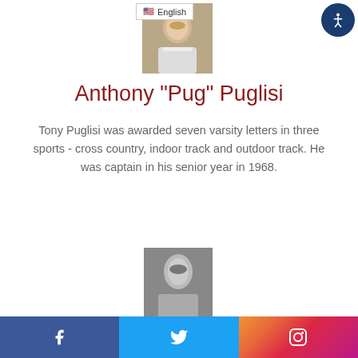[Figure (photo): Headshot photo of Anthony Puglisi, a smiling middle-aged man]
Anthony "Pug" Puglisi
Tony Puglisi was awarded seven varsity letters in three sports - cross country, indoor track and outdoor track. He was captain in his senior year in 1968.
[Figure (photo): Black and white yearbook-style photo of Edward Samolyk, a young man]
Edward Samolyk